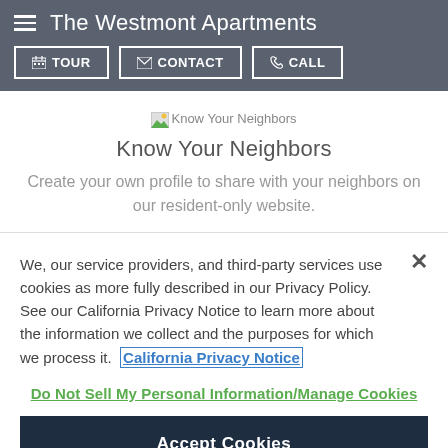The Westmont Apartments — TOUR | CONTACT | CALL
[Figure (screenshot): Know Your Neighbors icon/image placeholder]
Know Your Neighbors
Create your own profile to share with your neighbors on our resident-only website.
We, our service providers, and third-party services use cookies as more fully described in our Privacy Policy. See our California Privacy Notice to learn more about the information we collect and the purposes for which we process it.  California Privacy Notice
Do Not Sell My Personal Information/Manage Cookies
Accept Cookies